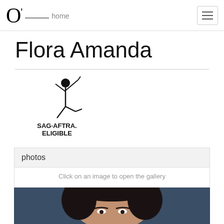O' home [navigation bar with hamburger menu]
Flora Amanda
[Figure (logo): SAG-AFTRA ELIGIBLE logo with stylized dancer figure]
photos
Click on an image to open the gallery
[Figure (photo): Headshot photo of Flora Amanda against a dark blue background, showing face and dark hair]